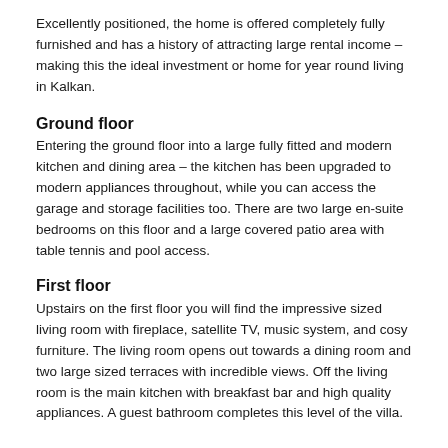Excellently positioned, the home is offered completely fully furnished and has a history of attracting large rental income – making this the ideal investment or home for year round living in Kalkan.
Ground floor
Entering the ground floor into a large fully fitted and modern kitchen and dining area – the kitchen has been upgraded to modern appliances throughout, while you can access the garage and storage facilities too. There are two large en-suite bedrooms on this floor and a large covered patio area with table tennis and pool access.
First floor
Upstairs on the first floor you will find the impressive sized living room with fireplace, satellite TV, music system, and cosy furniture. The living room opens out towards a dining room and two large sized terraces with incredible views. Off the living room is the main kitchen with breakfast bar and high quality appliances. A guest bathroom completes this level of the villa.